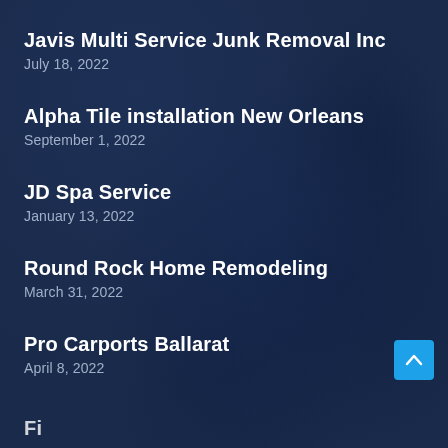Javis Multi Service Junk Removal Inc
July 18, 2022
Alpha Tile installation New Orleans
September 1, 2022
JD Spa Service
January 13, 2022
Round Rock Home Remodeling
March 31, 2022
Pro Carports Ballarat
April 8, 2022
[Figure (other): Scroll-to-top button (blue square with upward chevron arrow)]
Fi...